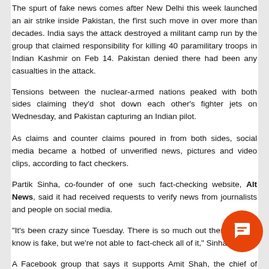The spurt of fake news comes after New Delhi this week launched an air strike inside Pakistan, the first such move in over more than decades. India says the attack destroyed a militant camp run by the group that claimed responsibility for killing 40 paramilitary troops in Indian Kashmir on Feb 14. Pakistan denied there had been any casualties in the attack.
Tensions between the nuclear-armed nations peaked with both sides claiming they'd shot down each other's fighter jets on Wednesday, and Pakistan capturing an Indian pilot.
As claims and counter claims poured in from both sides, social media became a hotbed of unverified news, pictures and video clips, according to fact checkers.
Partik Sinha, co-founder of one such fact-checking website, Alt News, said it had received requests to verify news from journalists and people on social media.
“It’s been crazy since Tuesday. There is so much out there that we know is fake, but we’re not able to fact-check all of it,” Sinha said.
A Facebook group that says it supports Amit Shah, the chief of India’s ruling Bharatiya Janata Party (BJP), posted images on Tuesday of the alleged destruction caused inside Pakistan by the Indian air strike.
Three photos posted on the group page showed debris from a destroyed building and bodies and have been shared hundreds of times.